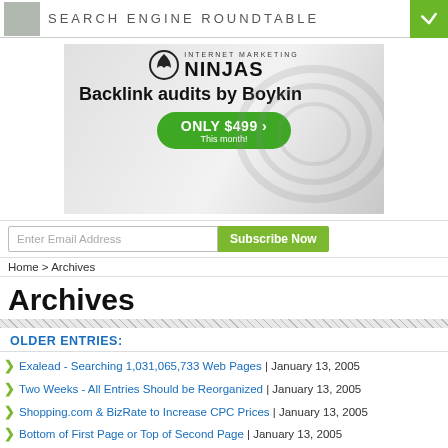SEARCH ENGINE ROUNDTABLE
[Figure (advertisement): Internet Marketing Ninjas ad banner: Backlink audits by Boykin, ONLY $499 This month!]
Enter Email Address | Subscribe Now
Home > Archives
Archives
OLDER ENTRIES:
Exalead - Searching 1,031,065,733 Web Pages | January 13, 2005
Two Weeks - All Entries Should be Reorganized | January 13, 2005
Shopping.com & BizRate to Increase CPC Prices | January 13, 2005
Bottom of First Page or Top of Second Page | January 13, 2005
Search Engine Watch Forums Broke 3,000 Members | January 13, 2005